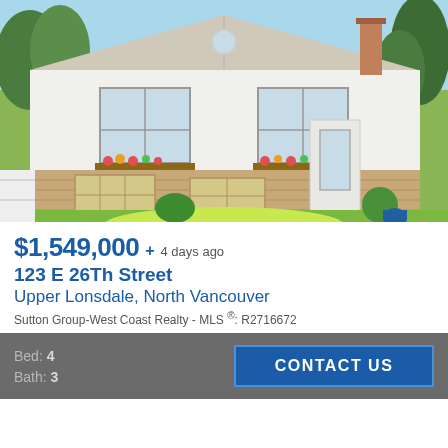[Figure (photo): Exterior photo of a white single-storey house with brick lower facade, two front windows with flower boxes, green lawn, stone pathway, surrounded by trees and fencing.]
$1,549,000 + 4 days ago
123 E 26Th Street
Upper Lonsdale, North Vancouver
Sutton Group-West Coast Realty - MLS ®: R2716672
Bed: 4
Bath: 3
CONTACT US